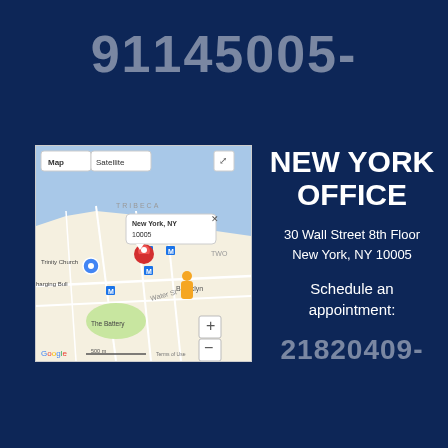91145005-
[Figure (map): Google Maps showing New York, NY 10005 area near Trinity Church, The Battery, and Brooklyn waterfront with a red location pin marker. Map and Satellite toggle buttons visible at top.]
NEW YORK OFFICE
30 Wall Street 8th Floor
New York, NY 10005
Schedule an appointment:
21820409-